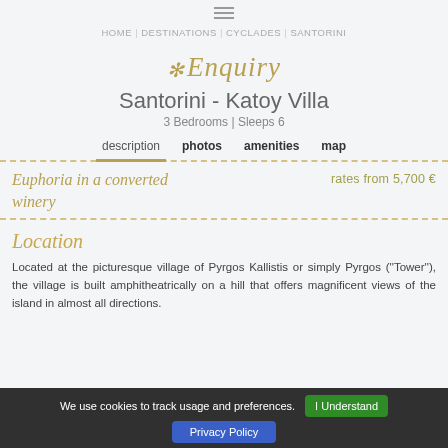HOME | DESTINATIONS | CYCLADES | SANTORINI
✻ Enquiry
Santorini - Katoy Villa
3 Bedrooms | Sleeps 6
description  photos  amenities  map
Euphoria in a converted winery
rates from 5,700 €
Location
Located at the picturesque village of Pyrgos Kallistis or simply Pyrgos (''Tower''), the village is built amphitheatrically on a hill that offers magnificent views of the island in almost all directions.
We use cookies to track usage and preferences.
I Understand
Privacy Policy